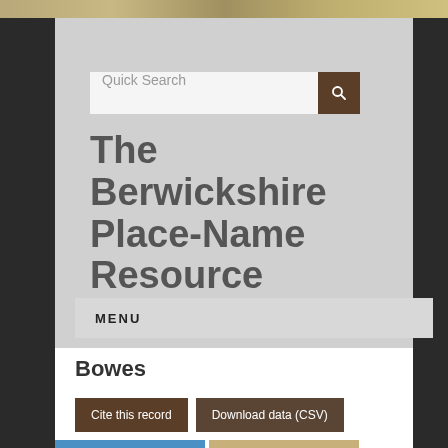[Figure (screenshot): Top decorative image bar with muted golden/tan colors]
Quick Search
The Berwickshire Place-Name Resource
MENU
Bowes
Cite this record
Download data (CSV)